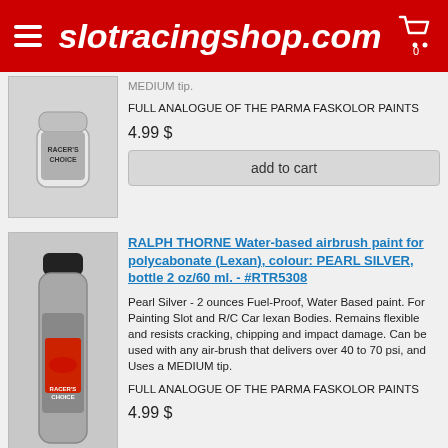slotracingshop.com
MEDIUM tip.
FULL ANALOGUE OF THE PARMA FASKOLOR PAINTS
4.99 $
add to cart
[Figure (photo): Racer's Choice paint bottle, white cap, small jar]
[Figure (photo): Racer's Choice airbrush paint bottle, black cap, silver pearl color, tall bottle with race car logo]
RALPH THORNE Water-based airbrush paint for polycabonate (Lexan), colour: PEARL SILVER, bottle 2 oz/60 ml. - #RTR5308
Pearl Silver - 2 ounces Fuel-Proof, Water Based paint. For Painting Slot and R/C Car lexan Bodies. Remains flexible and resists cracking, chipping and impact damage. Can be used with any air-brush that delivers over 40 to 70 psi, and Uses a MEDIUM tip.
FULL ANALOGUE OF THE PARMA FASKOLOR PAINTS
4.99 $